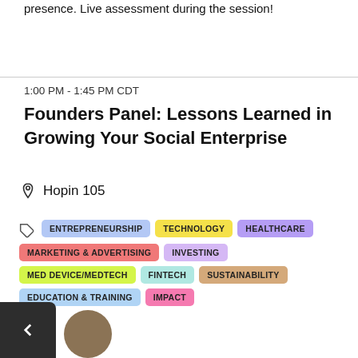presence. Live assessment during the session!
1:00 PM - 1:45 PM CDT
Founders Panel: Lessons Learned in Growing Your Social Enterprise
Hopin 105
ENTREPRENEURSHIP
TECHNOLOGY
HEALTHCARE
MARKETING & ADVERTISING
INVESTING
MED DEVICE/MEDTECH
FINTECH
SUSTAINABILITY
EDUCATION & TRAINING
IMPACT